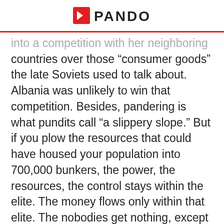PANDO
into a competition with her neighboring countries over those “consumer goods” the late Soviets used to talk about. Albania was unlikely to win that competition. Besides, pandering is what pundits call “a slippery slope.” But if you plow the resources that could have housed your population into 700,000 bunkers, the power, the resources, the control stays within the elite. The money flows only within that elite. The nobodies get nothing, except a time-share in this bad dream called “national defense.” You put them in that dream, forcibly, every time they see another bunker